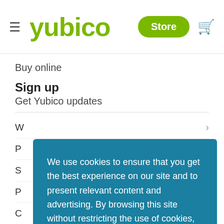yubico — Store
Buy online
Sign up
Get Yubico updates
W ›
P ∨
S ∨
P ∨
C ∨
S ∨
We use cookies to ensure that you get the best experience on our site and to present relevant content and advertising. By browsing this site without restricting the use of cookies, you consent to our and third party use of cookies as set out in our Cookie Notice.